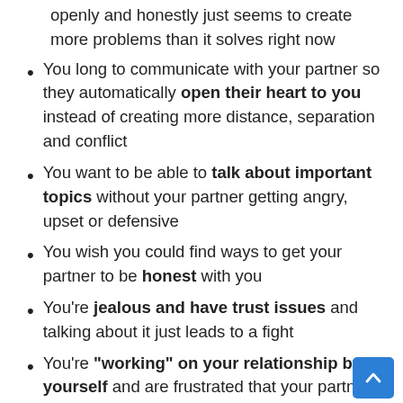…openly and honestly just seems to create more problems than it solves right now
You long to communicate with your partner so they automatically open their heart to you instead of creating more distance, separation and conflict
You want to be able to talk about important topics without your partner getting angry, upset or defensive
You wish you could find ways to get your partner to be honest with you
You're jealous and have trust issues and talking about it just leads to a fight
You're "working" on your relationship by yourself and are frustrated that your partner …